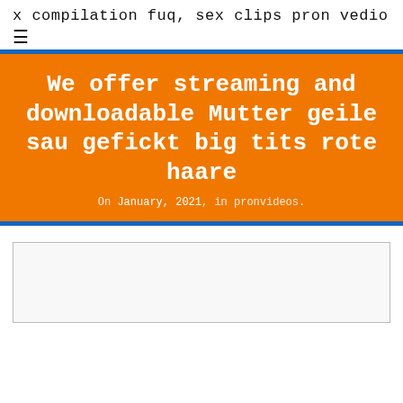x compilation fuq, sex clips pron vedio
We offer streaming and downloadable Mutter geile sau gefickt big tits rote haare
On January, 2021, in pronvideos.
[Figure (other): Empty video player box with light gray background and thin gray border]